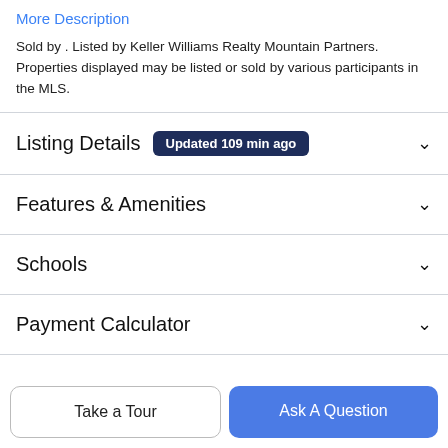More Description
Sold by . Listed by Keller Williams Realty Mountain Partners. Properties displayed may be listed or sold by various participants in the MLS.
Listing Details  Updated 109 min ago
Features & Amenities
Schools
Payment Calculator
Contact Agent
Take a Tour
Ask A Question